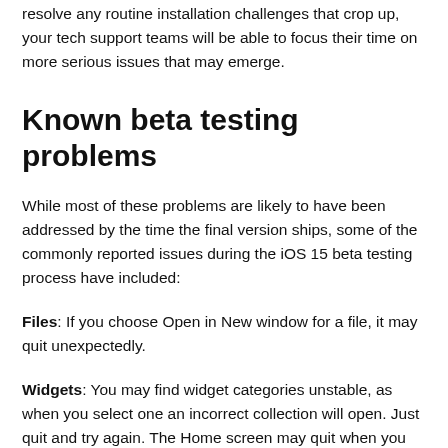resolve any routine installation challenges that crop up, your tech support teams will be able to focus their time on more serious issues that may emerge.
Known beta testing problems
While most of these problems are likely to have been addressed by the time the final version ships, some of the commonly reported issues during the iOS 15 beta testing process have included:
Files: If you choose Open in New window for a file, it may quit unexpectedly.
Widgets: You may find widget categories unstable, as when you select one an incorrect collection will open. Just quit and try again. The Home screen may quit when you drag a widget from panel.